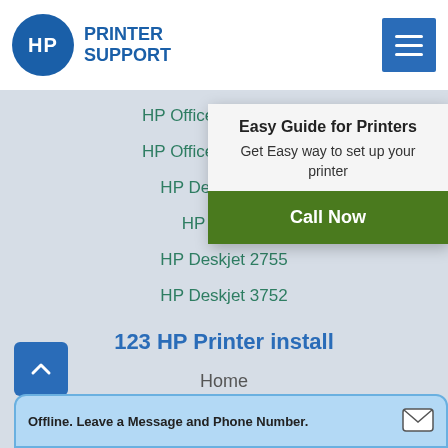[Figure (logo): HP circular blue logo with white HP text]
PRINTER SUPPORT
[Figure (infographic): Blue hamburger menu button with three white lines]
HP Officejet Pro 8710
HP Officejet Pro 9010
HP Deskjet 2652
HP Deskjet (partially obscured)
HP Deskjet 2755
HP Deskjet 3752
[Figure (infographic): Easy Guide for Printers popup with Call Now button]
123 HP Printer install
Home
Printer Setup
Driver Download
Offline. Leave a Message and Phone Number.